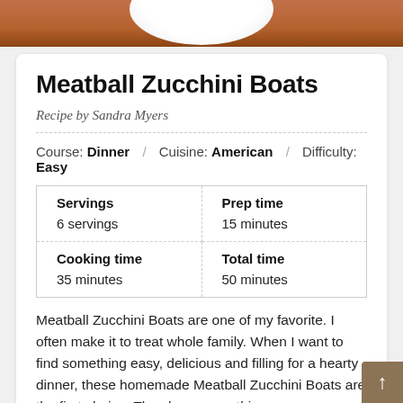[Figure (photo): Photo of meatball zucchini boats in a white bowl on a wooden surface, partially visible at top of page]
Meatball Zucchini Boats
Recipe by Sandra Myers
Course: Dinner / Cuisine: American / Difficulty: Easy
| Servings | Prep time |
| --- | --- |
| 6 servings | 15 minutes |
| Cooking time
35 minutes | Total time
50 minutes |
Meatball Zucchini Boats are one of my favorite. I often make it to treat whole family. When I want to find something easy, delicious and filling for a hearty dinner, these homemade Meatball Zucchini Boats are the first choice. They have everything that I need...